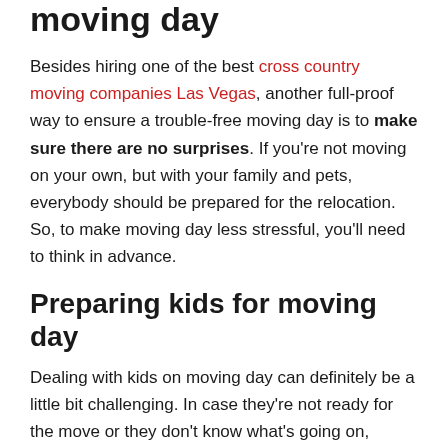moving day
Besides hiring one of the best cross country moving companies Las Vegas, another full-proof way to ensure a trouble-free moving day is to make sure there are no surprises. If you're not moving on your own, but with your family and pets, everybody should be prepared for the relocation. So, to make moving day less stressful, you'll need to think in advance.
Preparing kids for moving day
Dealing with kids on moving day can definitely be a little bit challenging. In case they're not ready for the move or they don't know what's going on, things can get even trickier. So, to avoid any issues with your children on moving day, you should talk to them beforehand.